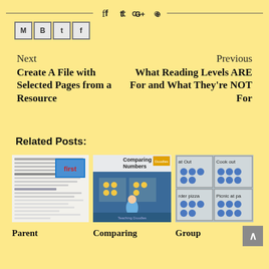[Figure (other): Social media share icons: Facebook, Twitter, Google+, Pinterest with horizontal lines on either side]
[Figure (other): Social sharing buttons: M, B, t, f icons (email/bookmark/twitter/facebook)]
Next
Create A File with Selected Pages from a Resource
Previous
What Reading Levels ARE For and What They're NOT For
Related Posts:
[Figure (screenshot): Thumbnail of a blog post page with text content]
[Figure (screenshot): Thumbnail showing 'Comparing Numbers' with children using manipulatives on blue boards]
[Figure (screenshot): Thumbnail showing cards with phrases: 'at Out', 'Cook out', 'rder pizza', 'Picnic at pa' with blue dot manipulatives]
Parent
Comparing
Group